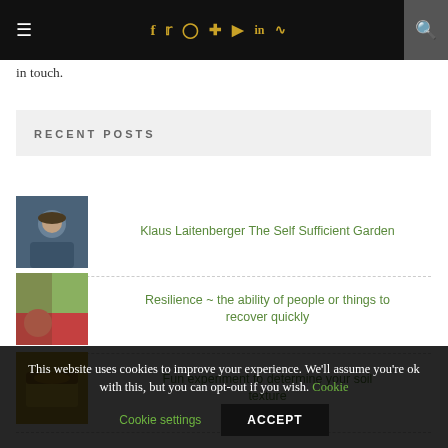Navigation bar with hamburger menu, social icons (f, twitter, instagram, pinterest, youtube, linkedin, rss), and search
in touch.
RECENT POSTS
Klaus Laitenberger The Self Sufficient Garden
Resilience ~ the ability of people or things to recover quickly
Fun experiment to determine your soil texture
This website uses cookies to improve your experience. We'll assume you're ok with this, but you can opt-out if you wish. Cookie settings ACCEPT